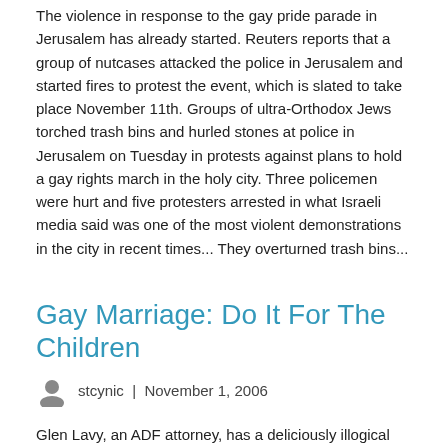The violence in response to the gay pride parade in Jerusalem has already started. Reuters reports that a group of nutcases attacked the police in Jerusalem and started fires to protest the event, which is slated to take place November 11th. Groups of ultra-Orthodox Jews torched trash bins and hurled stones at police in Jerusalem on Tuesday in protests against plans to hold a gay rights march in the holy city. Three policemen were hurt and five protesters arrested in what Israeli media said was one of the most violent demonstrations in the city in recent times... They overturned trash bins...
Gay Marriage: Do It For The Children
stcynic  |  November 1, 2006
Glen Lavy, an ADF attorney, has a deliciously illogical column at Townhall.com about the New Jersey gay marriage ruling. Even if one grants his premise, his conclusion completely contradicts that premise: Here's the premise: Those pressing for the legalization of same-sex marriage built a lot of their case on the notion that people in love have a right to get married, whatever